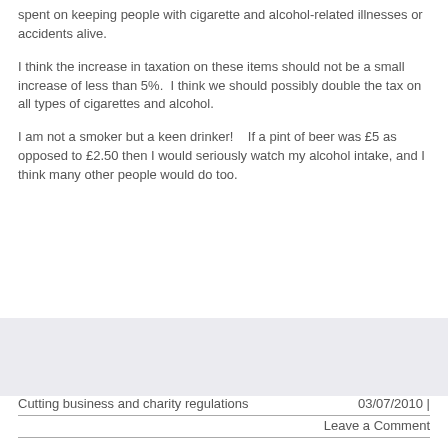spent on keeping people with cigarette and alcohol-related illnesses or accidents alive.
I think the increase in taxation on these items should not be a small increase of less than 5%.  I think we should possibly double the tax on all types of cigarettes and alcohol.
I am not a smoker but a keen drinker!    If a pint of beer was £5 as opposed to £2.50 then I would seriously watch my alcohol intake, and I think many other people would do too.
Cutting business and charity regulations    03/07/2010 | Leave a Comment